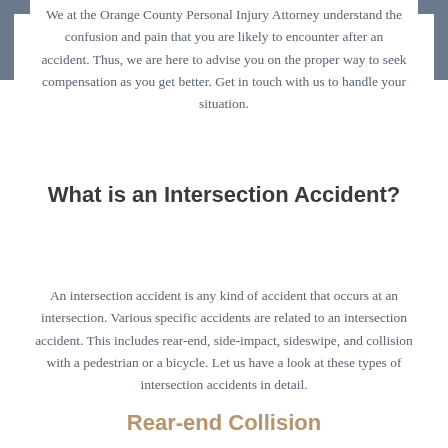We at the Orange County Personal Injury Attorney understand the confusion and pain that you are likely to encounter after an accident. Thus, we are here to advise you on the proper way to seek compensation as you get better. Get in touch with us to handle your situation.
What is an Intersection Accident?
An intersection accident is any kind of accident that occurs at an intersection. Various specific accidents are related to an intersection accident. This includes rear-end, side-impact, sideswipe, and collision with a pedestrian or a bicycle. Let us have a look at these types of intersection accidents in detail.
Rear-end Collision